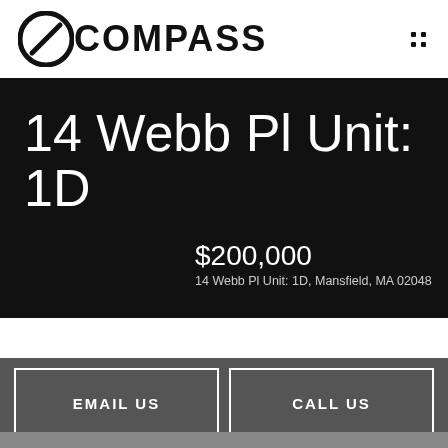[Figure (logo): Compass real estate logo with compass icon and COMPASS text in bold uppercase]
14 Webb Pl Unit: 1D
$200,000
14 Webb Pl Unit: 1D, Mansfield, MA 02048
EMAIL US
CALL US